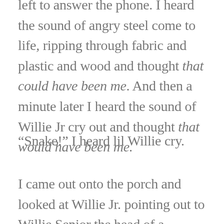Willie put his son to work – Willie Jr – and then left to answer the phone. I heard the sound of angry steel come to life, ripping through fabric and plastic and wood and thought that could have been me. And then a minute later I heard the sound of Willie Jr cry out and thought that would have been me.
“Snake!” I heard lil Willie cry.
I came out onto the porch and looked at Willie Jr. pointing out to Willie Senior the head of a